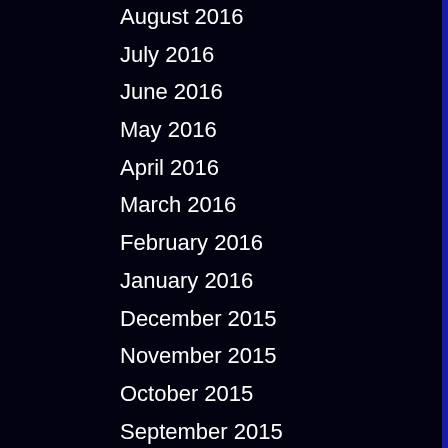August 2016
July 2016
June 2016
May 2016
April 2016
March 2016
February 2016
January 2016
December 2015
November 2015
October 2015
September 2015
August 2015
July 2015